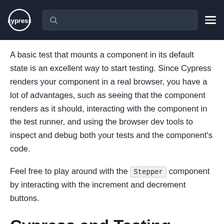cypress [search bar] [menu]
A basic test that mounts a component in its default state is an excellent way to start testing. Since Cypress renders your component in a real browser, you have a lot of advantages, such as seeing that the component renders as it should, interacting with the component in the test runner, and using the browser dev tools to inspect and debug both your tests and the component's code.
Feel free to play around with the Stepper component by interacting with the increment and decrement buttons.
Cypress and Testing Library
While we don't use Testing Library in this guide, many